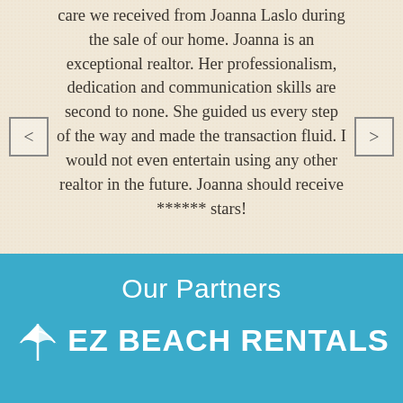care we received from Joanna Laslo during the sale of our home. Joanna is an exceptional realtor. Her professionalism, dedication and communication skills are second to none. She guided us every step of the way and made the transaction fluid. I would not even entertain using any other realtor in the future. Joanna should receive ****** stars!
Our Partners
[Figure (logo): EZ Beach Rentals logo with a white beach umbrella icon and bold white text 'EZ BEACH RENTALS' on a teal background]